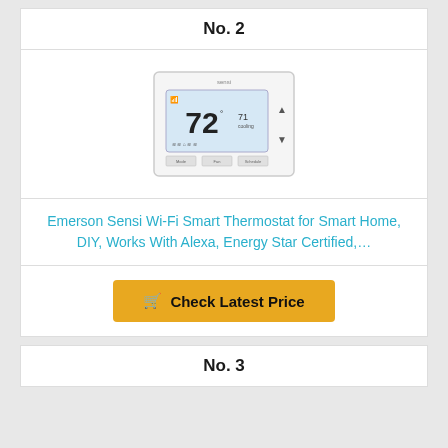No. 2
[Figure (photo): Emerson Sensi Wi-Fi Smart Thermostat device showing digital display with temperature reading of 72 degrees]
Emerson Sensi Wi-Fi Smart Thermostat for Smart Home, DIY, Works With Alexa, Energy Star Certified,…
Check Latest Price
No. 3